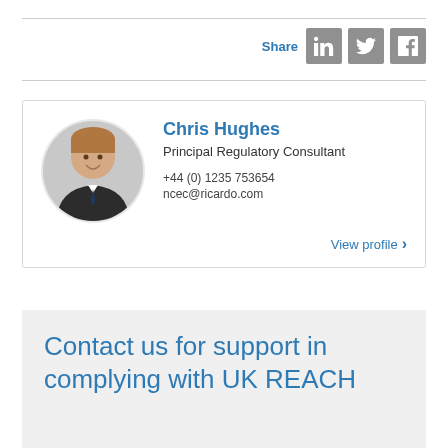[Figure (infographic): Social share bar with LinkedIn, Twitter, and Facebook icons]
[Figure (photo): Profile card for Chris Hughes, Principal Regulatory Consultant, with circular headshot photo, phone +44 (0) 1235 753654, email ncec@ricardo.com, and View profile link]
Contact us for support in complying with UK REACH